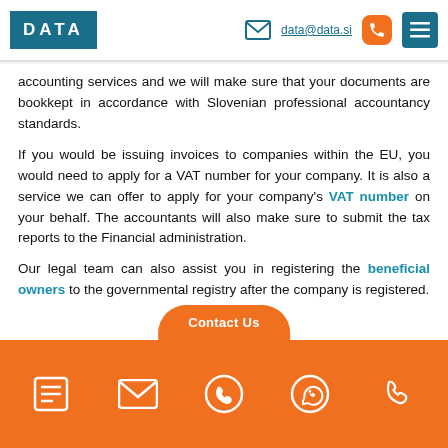DATA | data@data.si
accounting services and we will make sure that your documents are bookkept in accordance with Slovenian professional accountancy standards.
If you would be issuing invoices to companies within the EU, you would need to apply for a VAT number for your company. It is also a service we can offer to apply for your company's VAT number on your behalf. The accountants will also make sure to submit the tax reports to the Financial administration.
Our legal team can also assist you in registering the beneficial owners to the governmental registry after the company is registered.
Contact Us | icons: list, email, viber, whatsapp, phone